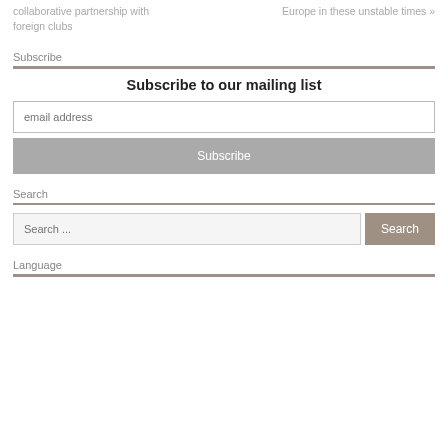collaborative partnership with foreign clubs
Europe in these unstable times »
Subscribe
Subscribe to our mailing list
email address
Subscribe
Search
Search ...
Search
Language